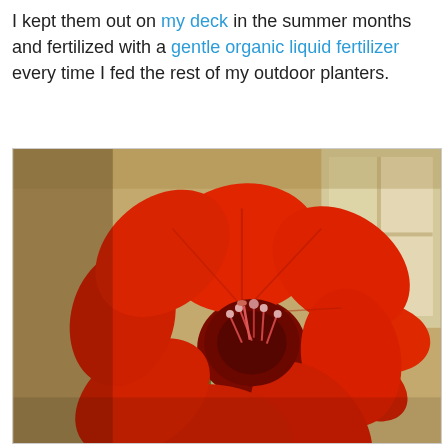I kept them out on my deck in the summer months and fertilized with a gentle organic liquid fertilizer every time I fed the rest of my outdoor planters.
[Figure (photo): Close-up photograph of two large red amaryllis flowers in bloom, with green stems, set against a warm beige/tan interior background with a window visible on the right side.]